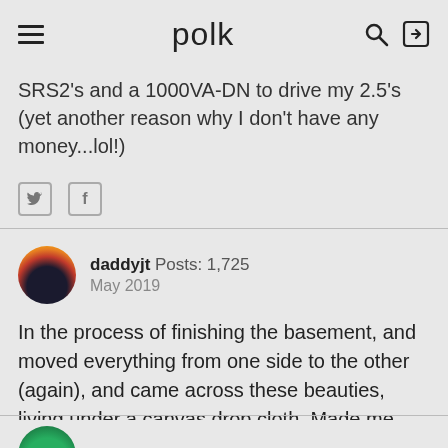polk
SRS2's and a 1000VA-DN to drive my 2.5's (yet another reason why I don't have any money...lol!)
daddyjt  Posts: 1,725
May 2019
In the process of finishing the basement, and moved everything from one side to the other (again), and came across these beauties, living under a canvas drop cloth. Made me think of Josh, and my trip to Denver. Hope he's doing well.
pitdogg2  Posts: 21,091